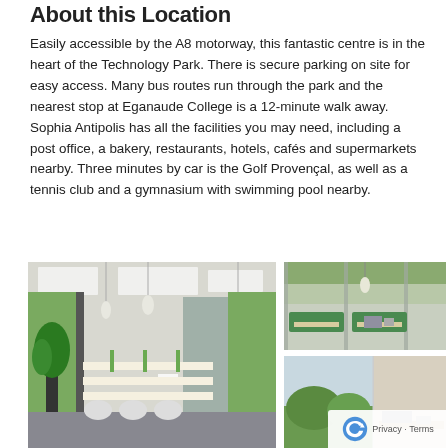About this Location
Easily accessible by the A8 motorway, this fantastic centre is in the heart of the Technology Park. There is secure parking on site for easy access. Many bus routes run through the park and the nearest stop at Eganaude College is a 12-minute walk away. Sophia Antipolis has all the facilities you may need, including a post office, a bakery, restaurants, hotels, cafés and supermarkets nearby. Three minutes by car is the Golf Provençal, as well as a tennis club and a gymnasium with swimming pool nearby.
[Figure (photo): Interior of an open-plan office space with white desks, green partition dividers, white chairs, pendant lighting, and a plant in the corner.]
[Figure (photo): Interior of a meeting or booth-style seating area with green upholstered bench seating, wooden tables, pendant light, and frosted glass partitions with a nature mural.]
[Figure (photo): Interior office area with large windows showing a green landscape outside, a desk with items on it.]